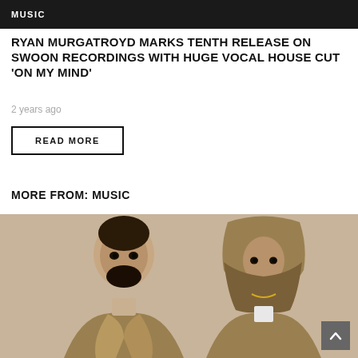MUSIC
RYAN MURGATROYD MARKS TENTH RELEASE ON SWOON RECORDINGS WITH HUGE VOCAL HOUSE CUT 'ON MY MIND'
2 years ago
READ MORE
MORE FROM: MUSIC
[Figure (photo): Two men in tan/khaki hooded jackets posing against a neutral beige background. The man on the left has a beard; the man on the right wears a hood and chain necklace.]